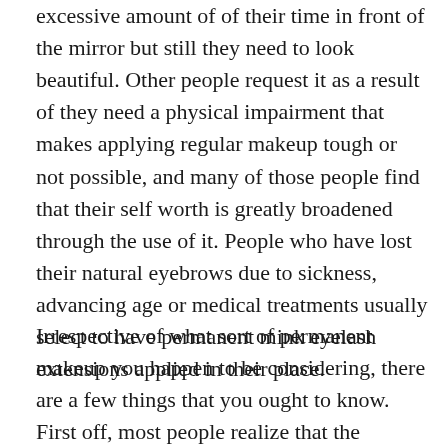excessive amount of of their time in front of the mirror but still they need to look beautiful. Other people request it as a result of they need a physical impairment that makes applying regular makeup tough or not possible, and many of those people find that their self worth is greatly broadened through the use of it. People who have lost their natural eyebrows due to sickness, advancing age or medical treatments usually select to have permanent mink eyelash extensions applied in their place.
Irrespective of what sort of permanent makeup you happen to be considering, there are a few things that you ought to know. First off, most people realize that the colours look a little bit